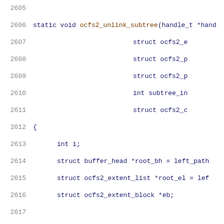[Figure (screenshot): Source code listing showing lines 2605-2626 of a C file implementing ocfs2_unlink_subtree function with line numbers on the left in gray and code in dark blue/brown monospace font.]